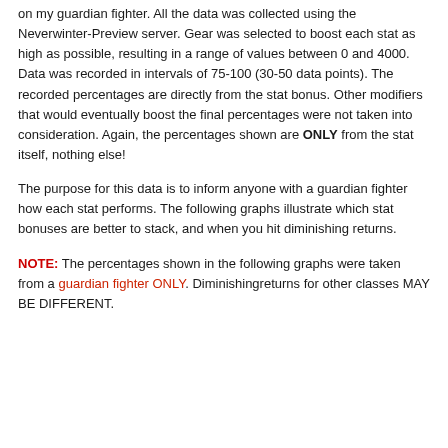on my guardian fighter. All the data was collected using the Neverwinter-Preview server. Gear was selected to boost each stat as high as possible, resulting in a range of values between 0 and 4000. Data was recorded in intervals of 75-100 (30-50 data points). The recorded percentages are directly from the stat bonus. Other modifiers that would eventually boost the final percentages were not taken into consideration. Again, the percentages shown are ONLY from the stat itself, nothing else!
The purpose for this data is to inform anyone with a guardian fighter how each stat performs. The following graphs illustrate which stat bonuses are better to stack, and when you hit diminishing returns.
NOTE: The percentages shown in the following graphs were taken from a guardian fighter ONLY. Diminishingreturns for other classes MAY BE DIFFERENT.